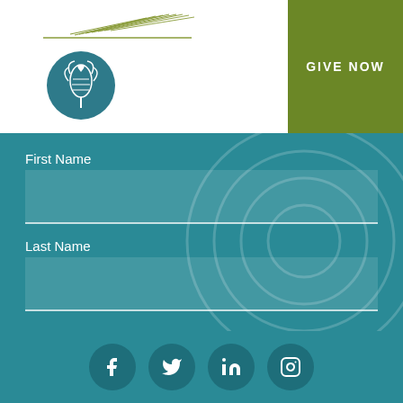[Figure (logo): Organization logo with pine cone and leaf graphic above a horizontal olive/gold line, and a circular teal emblem with stylized tree/heart]
[Figure (infographic): Hamburger menu icon (three horizontal teal lines)]
GIVE NOW
First Name
Last Name
SUBSCRIBE
[Figure (infographic): Social media icons row: Facebook, Twitter, LinkedIn, Instagram — white icons on dark teal circular backgrounds]